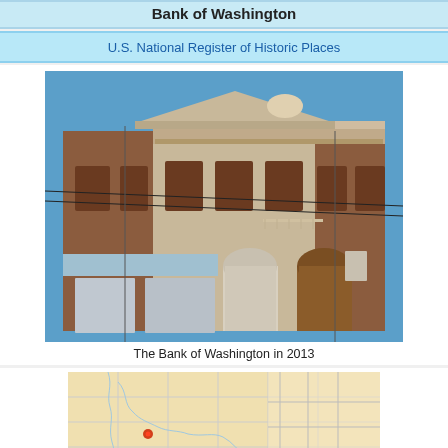Bank of Washington
U.S. National Register of Historic Places
[Figure (photo): Facade of the Bank of Washington building photographed in 2013, a two-story neoclassical commercial building with ornate stonework, arched doorways, and decorative cornice.]
The Bank of Washington in 2013
[Figure (map): A regional map showing the location of the Bank of Washington within Arkansas, with county lines and waterways visible.]